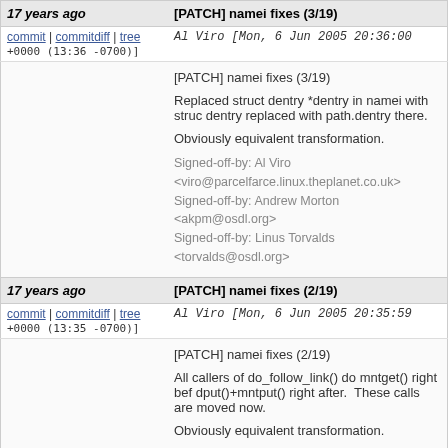| Age | Title |
| --- | --- |
| 17 years ago | [PATCH] namei fixes (3/19) |
| commit | commitdiff | tree
Al Viro [Mon, 6 Jun 2005 20:36:00 +0000 (13:36 -0700)] |  |
|  | [PATCH] namei fixes (3/19)

Replaced struct dentry *dentry in namei with struc dentry replaced with path.dentry there.

Obviously equivalent transformation.

Signed-off-by: Al Viro <viro@parcelfarce.linux.theplanet.co.uk>
Signed-off-by: Andrew Morton <akpm@osdl.org>
Signed-off-by: Linus Torvalds <torvalds@osdl.org> |
| 17 years ago | [PATCH] namei fixes (2/19) |
| commit | commitdiff | tree
Al Viro [Mon, 6 Jun 2005 20:35:59 +0000 (13:35 -0700)] |  |
|  | [PATCH] namei fixes (2/19)

All callers of do_follow_link() do mntget() right bef dput()+mntput() right after. These calls are moved now.

Obviously equivalent transformation. |